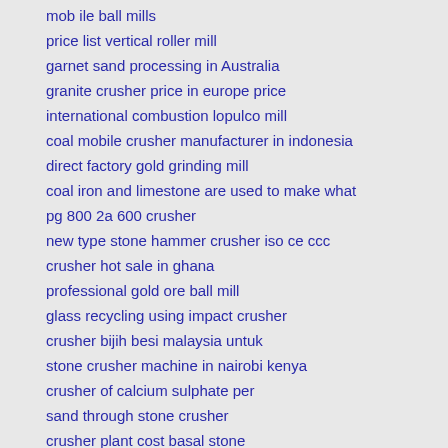mob ile ball mills
price list vertical roller mill
garnet sand processing in Australia
granite crusher price in europe price
international combustion lopulco mill
coal mobile crusher manufacturer in indonesia
direct factory gold grinding mill
coal iron and limestone are used to make what
pg 800 2a 600 crusher
new type stone hammer crusher iso ce ccc
crusher hot sale in ghana
professional gold ore ball mill
glass recycling using impact crusher
crusher bijih besi malaysia untuk
stone crusher machine in nairobi kenya
crusher of calcium sulphate per
sand through stone crusher
crusher plant cost basal stone
plant ball mill jaw crusher
cathay phillips gold ore crusher machine
skid mounted jaw crusher ditroit biosel